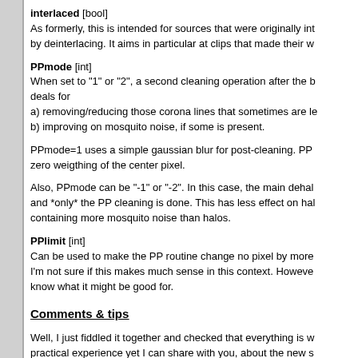interlaced [bool]
As formerly, this is intended for sources that were originally int by deinterlacing. It aims in particular at clips that made their w
PPmode [int]
When set to "1" or "2", a second cleaning operation after the b deals for
a) removing/reducing those corona lines that sometimes are le
b) improving on mosquito noise, if some is present.
PPmode=1 uses a simple gaussian blur for post-cleaning. PP zero weigthing of the center pixel.
Also, PPmode can be "-1" or "-2". In this case, the main dehal and *only* the PP cleaning is done. This has less effect on hal containing more mosquito noise than halos.
PPlimit [int]
Can be used to make the PP routine change no pixel by more I'm not sure if this makes much sense in this context. Howeve know what it might be good for.
Comments & tips
Well, I just fiddled it together and checked that everything is w practical experience yet I can share with you, about the new s
- All that PP stuff isn't yet optimized. But it's difficult to make th